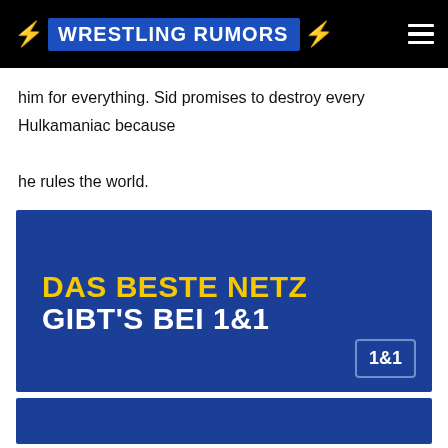WRESTLING RUMORS
him for everything. Sid promises to destroy every Hulkamaniac because he rules the world.
[Figure (advertisement): 1&1 advertisement with blue background, yellow text 'DAS BESTE NETZ' and white text 'GIBT'S BEI 1&1', with 1&1 logo box in bottom right corner]
[Figure (advertisement): Second 1&1 advertisement, partially visible, blue background]